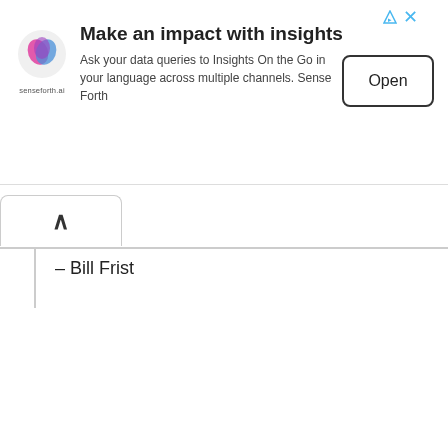[Figure (logo): senseforth.ai advertisement banner with logo, title 'Make an impact with insights', description text, and Open button]
– Bill Frist